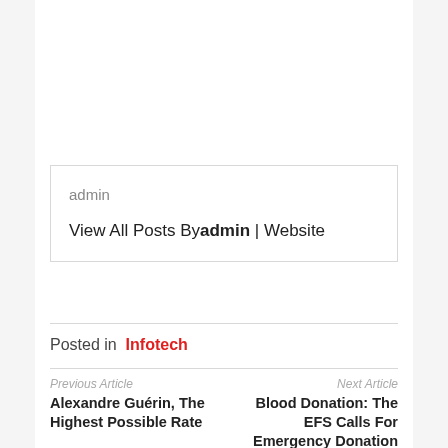admin
View All Posts Byadmin | Website
Posted in  Infotech
Previous Article
Alexandre Guérin, The Highest Possible Rate
Next Article
Blood Donation: The EFS Calls For Emergency Donation Due To "Too Low" Reserves